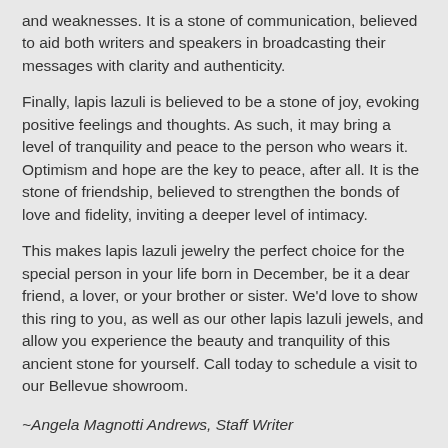and weaknesses. It is a stone of communication, believed to aid both writers and speakers in broadcasting their messages with clarity and authenticity.
Finally, lapis lazuli is believed to be a stone of joy, evoking positive feelings and thoughts. As such, it may bring a level of tranquility and peace to the person who wears it. Optimism and hope are the key to peace, after all. It is the stone of friendship, believed to strengthen the bonds of love and fidelity, inviting a deeper level of intimacy.
This makes lapis lazuli jewelry the perfect choice for the special person in your life born in December, be it a dear friend, a lover, or your brother or sister. We'd love to show this ring to you, as well as our other lapis lazuli jewels, and allow you experience the beauty and tranquility of this ancient stone for yourself. Call today to schedule a visit to our Bellevue showroom.
~Angela Magnotti Andrews, Staff Writer